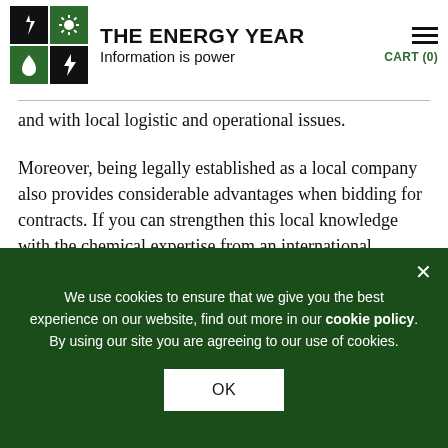THE ENERGY YEAR — Information is power
and with local logistic and operational issues.
Moreover, being legally established as a local company also provides considerable advantages when bidding for contracts. If you can strengthen this local knowledge with the chemical expertise from an international company, you will be able to have a strong and lasting relationship with the clients
We use cookies to ensure that we give you the best experience on our website, find out more in our cookie policy. By using our site you are agreeing to our use of cookies.